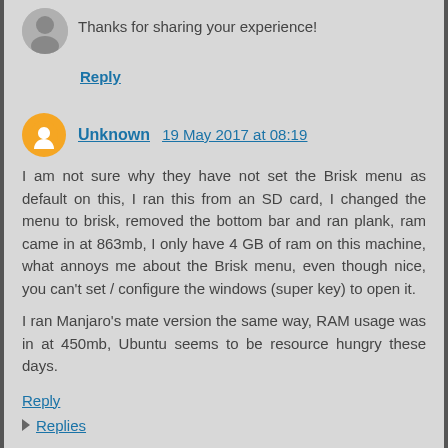Thanks for sharing your experience!
Reply
Unknown  19 May 2017 at 08:19
I am not sure why they have not set the Brisk menu as default on this, I ran this from an SD card, I changed the menu to brisk, removed the bottom bar and ran plank, ram came in at 863mb, I only have 4 GB of ram on this machine, what annoys me about the Brisk menu, even though nice, you can't set / configure the windows (super key) to open it.

I ran Manjaro's mate version the same way, RAM usage was in at 450mb, Ubuntu seems to be resource hungry these days.
Reply
Replies